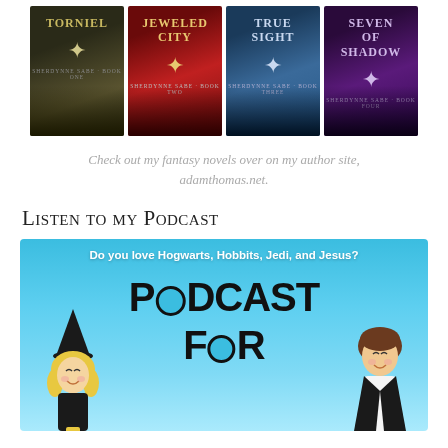[Figure (illustration): Four fantasy novel book covers in a row: Torniel (dark gold/green), Jeweled City (dark red), True Sight (dark blue), Seven of Shadow (dark purple), each with a star logo and series subtitle text.]
Check out my fantasy novels over on my author site, adamthomas.net.
Listen to my Podcast
[Figure (illustration): Podcast cover art on a bright blue background. Text reads 'Do you love Hogwarts, Hobbits, Jedi, and Jesus?' at the top. Large bold text 'PODCAST FOR' in center. Two cartoon characters: a blonde girl in a witch hat on the left and a brown-haired boy on the right.]